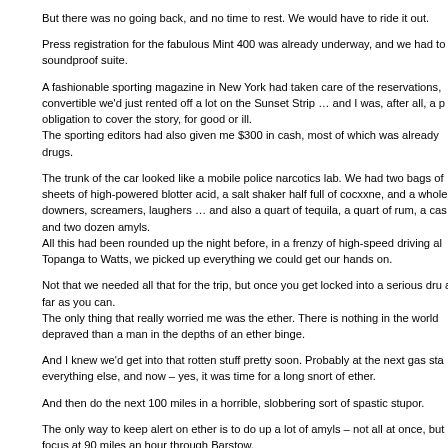But there was no going back, and no time to rest. We would have to ride it out.
Press registration for the fabulous Mint 400 was already underway, and we had to soundproof suite.
A fashionable sporting magazine in New York had taken care of the reservations, convertible we'd just rented off a lot on the Sunset Strip … and I was, after all, a p obligation to cover the story, for good or ill.
The sporting editors had also given me $300 in cash, most of which was already drugs.
The trunk of the car looked like a mobile police narcotics lab. We had two bags of sheets of high-powered blotter acid, a salt shaker half full of cocxxne, and a whole downers, screamers, laughers … and also a quart of tequila, a quart of rum, a ca and two dozen amyls.
All this had been rounded up the night before, in a frenzy of high-speed driving al Topanga to Watts, we picked up everything we could get our hands on.
Not that we needed all that for the trip, but once you get locked into a serious dru as far as you can.
The only thing that really worried me was the ether. There is nothing in the world depraved than a man in the depths of an ether binge.
And I knew we'd get into that rotten stuff pretty soon. Probably at the next gas sta everything else, and now – yes, it was time for a long snort of ether.
And then do the next 100 miles in a horrible, slobbering sort of spastic stupor.
The only way to keep alert on ether is to do up a lot of amyls – not all at once, but focus at 90 miles an hour through Barstow.
"Man, this is the way to travel," said my attorney. He leaned over to turn the volum with the rhythm section and kind of moaning the words: "One toke over the line